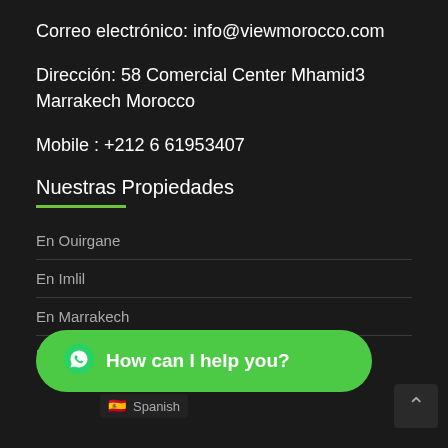Correo electrónico: info@viewmorocco.com
Dirección: 58 Comercial Center Mhamid3 Marrakech Morocco
Mobile : +212 6 61953407
Nuestras Propiedades
En Ouirgane
En Imlil
En Marrakech
Use
How can I help you?
Spanish